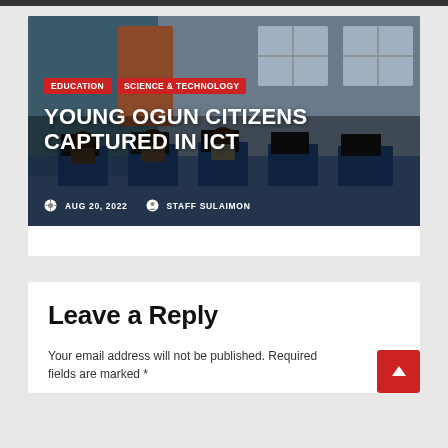[Figure (photo): Students sitting at blue computer desks in a classroom/ICT lab, with monitors and windows visible in the background. Overlaid with article title, category tags, and metadata.]
YOUNG OGUN CITIZENS CAPTURED IN ICT
EDUCATION   SCIENCE & TECHNOLOGY
AUG 20, 2022   STAFF SULAIMON
Leave a Reply
Your email address will not be published. Required fields are marked *